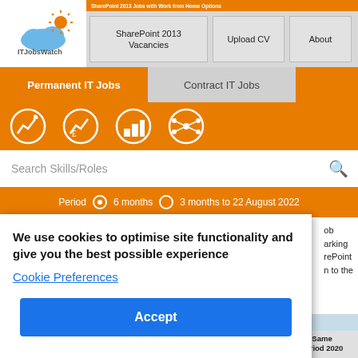SharePoint 2013 Jobs with Work from Home Options
[Figure (logo): ITJobsWatch cloud logo with sun rays]
SharePoint 2013 Vacancies | Upload CV | About
Permanent IT Jobs | Contract IT Jobs
[Figure (infographic): Orange toolbar with four circular white icon buttons for charts and network]
Search Skills/Roles
Period  6 months  3 months to 22 August 2022
We use cookies to optimise site functionality and give you the best possible experience
Cookie Preferences
Accept
ob
arking
rePoint
n to the
6 months to 22 Aug 2022  Same period 2021  Same period 2020